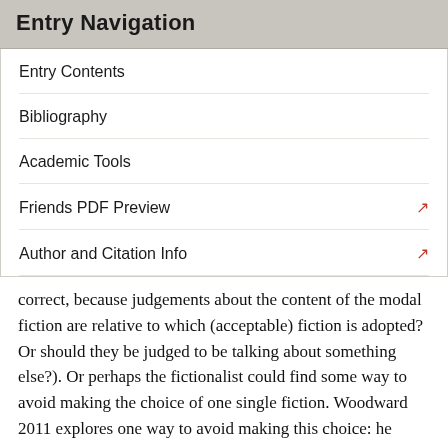Entry Navigation
Entry Contents
Bibliography
Academic Tools
Friends PDF Preview
Author and Citation Info
Correct, because judgements about the content of the modal fiction are relative to which (acceptable) fiction is adopted? Or should they be judged to be talking about something else?). Or perhaps the fictionalist could find some way to avoid making the choice of one single fiction. Woodward 2011 explores one way to avoid making this choice: he suggests modifying the fictionalist biconditional to relate modal claims to a range of acceptable fictions, allowing for some truth-value gaps when the acceptable fictions diverge from each other.
If the fictions disagreed sufficiently, there may even be